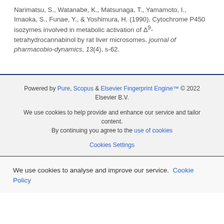Narimatsu, S., Watanabe, K., Matsunaga, T., Yamamoto, I., Imaoka, S., Funae, Y., & Yoshimura, H. (1990). Cytochrome P450 isozymes involved in metabolic activation of Δ⁹-tetrahydrocannabinol by rat liver microsomes. journal of pharmacobio-dynamics, 13(4), s-62.
Powered by Pure, Scopus & Elsevier Fingerprint Engine™ © 2022 Elsevier B.V.
We use cookies to help provide and enhance our service and tailor content. By continuing you agree to the use of cookies
Cookies Settings
We use cookies to analyse and improve our service. Cookie Policy